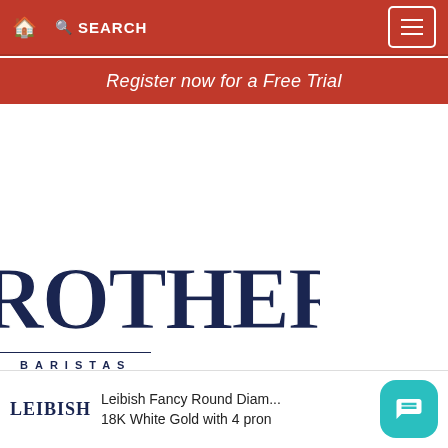🏠   SEARCH   ☰
Register now for a Free Trial
[Figure (logo): Brothers Baristas decorative logo in dark navy with ornate serif lettering, with 'BARISTAS' in spaced letters below]
Mon-Wed 7a-11a
Thu-Fri 7a-8p
Sat 9a-8p
LATTES
[Figure (screenshot): Advertisement overlay at the bottom showing Leibish logo and text: Leibish Fancy Round Diam... 18K White Gold with 4 pron]
[Figure (other): Teal rounded square chat/mail button in bottom right corner]